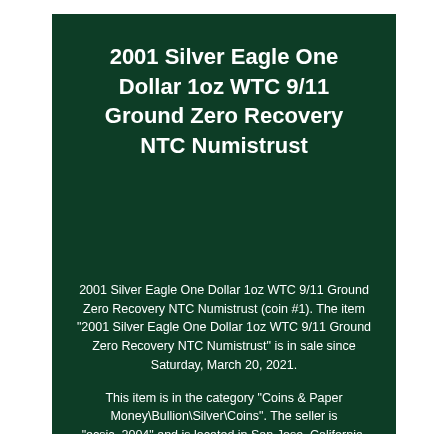2001 Silver Eagle One Dollar 1oz WTC 9/11 Ground Zero Recovery NTC Numistrust
[Figure (photo): Dark placeholder area where product image would appear (coin photo area)]
2001 Silver Eagle One Dollar 1oz WTC 9/11 Ground Zero Recovery NTC Numistrust (coin #1). The item "2001 Silver Eagle One Dollar 1oz WTC 9/11 Ground Zero Recovery NTC Numistrust" is in sale since Saturday, March 20, 2021.
This item is in the category "Coins & Paper Money\Bullion\Silver\Coins". The seller is "ecsjc_2004" and is located in San Jose, California. This item can be shipped to United States, Canada, United Kingdom, Denmark,